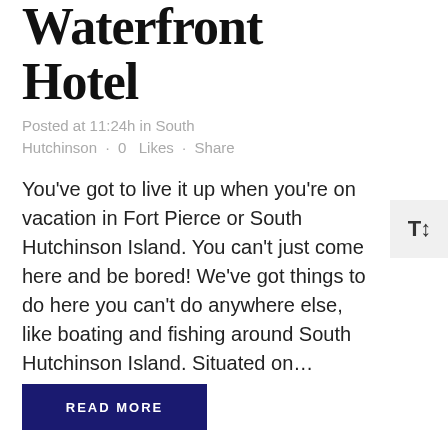Waterfront Hotel
Posted at 11:24h in South Hutchinson · 0  Likes · Share
You've got to live it up when you're on vacation in Fort Pierce or South Hutchinson Island. You can't just come here and be bored! We've got things to do here you can't do anywhere else, like boating and fishing around South Hutchinson Island. Situated on...
READ MORE